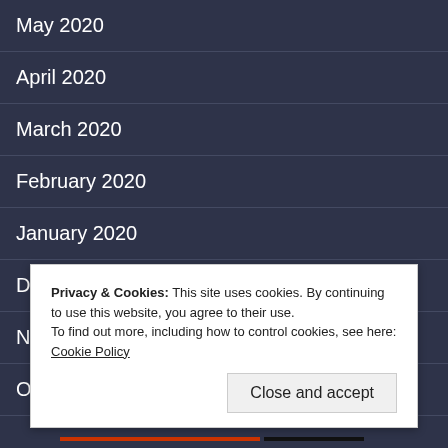May 2020
April 2020
March 2020
February 2020
January 2020
December 2019
November 2019
October 2019
September 2019
Privacy & Cookies: This site uses cookies. By continuing to use this website, you agree to their use.
To find out more, including how to control cookies, see here: Cookie Policy
Close and accept